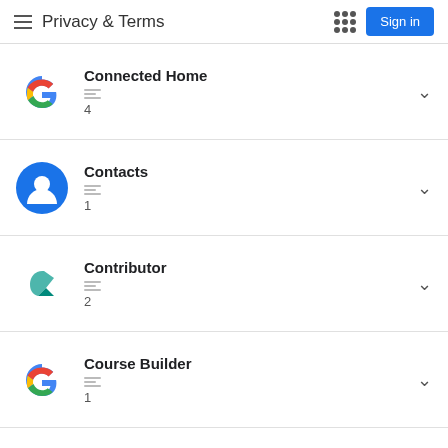Privacy & Terms
Connected Home
4
Contacts
1
Contributor
2
Course Builder
1